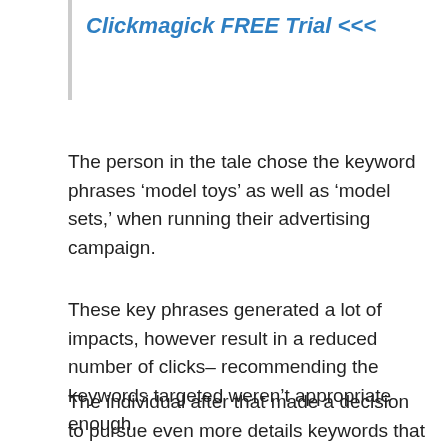Clickmagick FREE Trial <<<
The person in the tale chose the keyword phrases ‘model toys’ as well as ‘model sets,’ when running their advertising campaign.
These key phrases generated a lot of impacts, however result in a reduced number of clicks–recommending the keywords targeted weren’t appropriate enough.
The individual after that made a decision to pursue even more details keywords that had fewer perceptions. Doing so brought about an